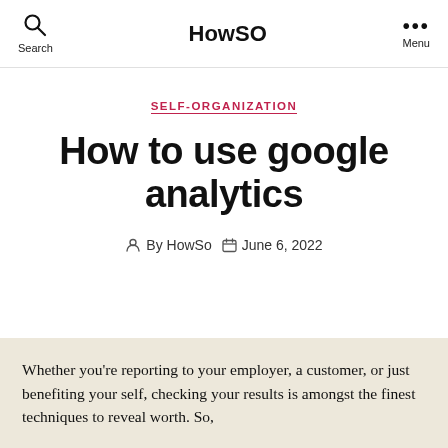HowSO
SELF-ORGANIZATION
How to use google analytics
By HowSo   June 6, 2022
Whether you're reporting to your employer, a customer, or just benefiting your self, checking your results is amongst the finest techniques to reveal worth. So,